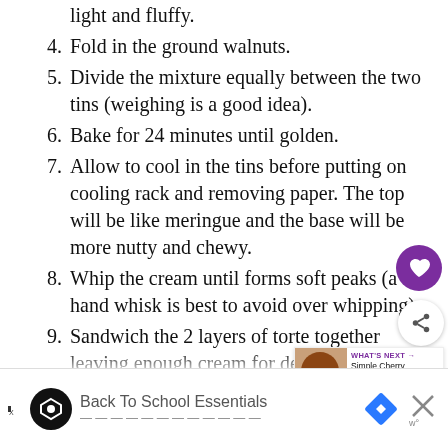light and fluffy.
4. Fold in the ground walnuts.
5. Divide the mixture equally between the two tins (weighing is a good idea).
6. Bake for 24 minutes until golden.
7. Allow to cool in the tins before putting on cooling rack and removing paper. The top will be like meringue and the base will be more nutty and chewy.
8. Whip the cream until forms soft peaks (a hand whisk is best to avoid over whipping).
9. Sandwich the 2 layers of torte together leaving enough cream for decoration.
10. Put milk and butter in a saucepan and heat until boiling then tip in the cocoa and